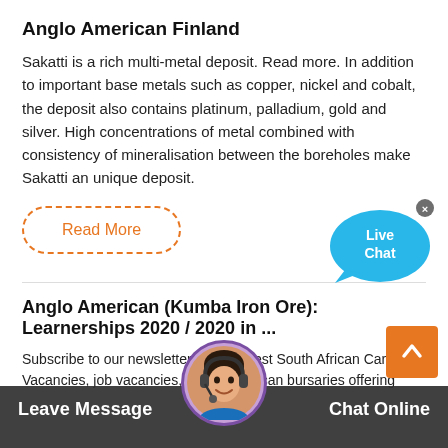Anglo American Finland
Sakatti is a rich multi-metal deposit. Read more. In addition to important base metals such as copper, nickel and cobalt, the deposit also contains platinum, palladium, gold and silver. High concentrations of metal combined with consistency of mineralisation between the boreholes make Sakatti an unique deposit.
Read More
Anglo American (Kumba Iron Ore): Learnerships 2020 / 2020 in ...
Subscribe to our newsletter for the latest South African Career Vacancies, job vacancies, Anglo American bursaries offering